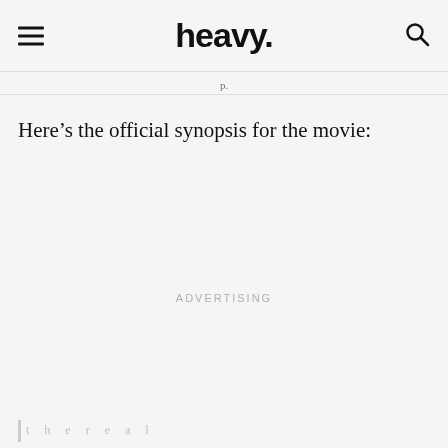heavy.
Here’s the official synopsis for the movie:
ADVERTISING